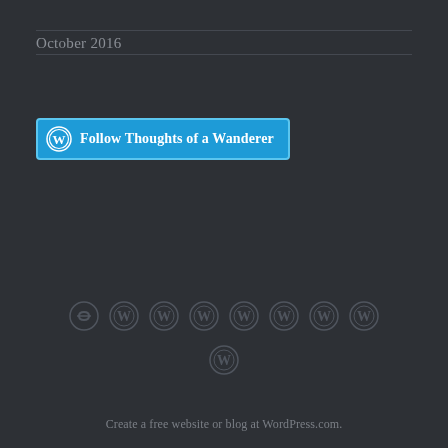October 2016
[Figure (logo): Follow Thoughts of a Wanderer WordPress follow button with WordPress logo icon in cyan/blue color]
[Figure (other): Row of WordPress logo icons and a link icon as footer social/navigation icons, arranged in two rows]
Create a free website or blog at WordPress.com.